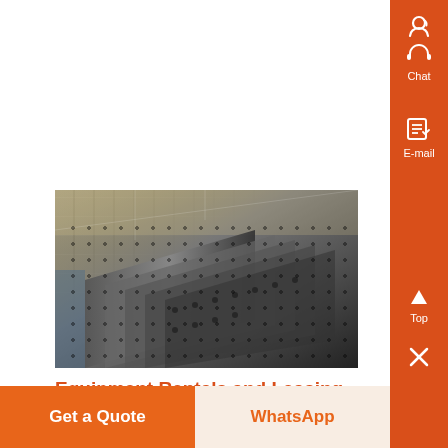[Figure (photo): Industrial heavy equipment machinery — dark metal crushing/screening equipment in a warehouse or factory setting]
Equipment Rentals and Leasing
Cooley Equipment Rentals include a variety of heavy equipment crushing and aggregate processing equipment If your needs are to rent a Rock Crusher or rent ,...
Know More
Get a Quote
WhatsApp
Chat
E-mail
Top